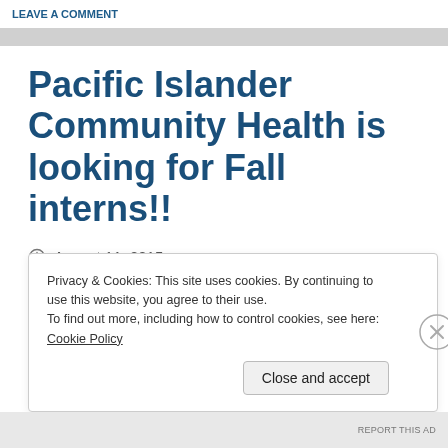LEAVE A COMMENT
Pacific Islander Community Health is looking for Fall interns!!
August 11, 2015
Privacy & Cookies: This site uses cookies. By continuing to use this website, you agree to their use.
To find out more, including how to control cookies, see here: Cookie Policy
Close and accept